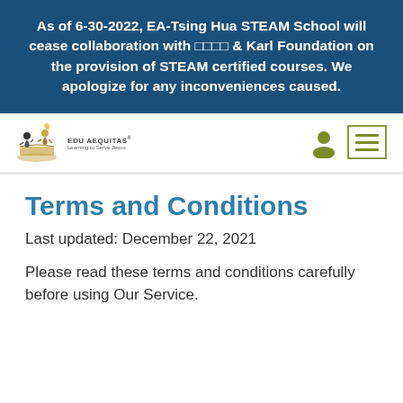As of 6-30-2022, EA-Tsing Hua STEAM School will cease collaboration with □□□□ & Karl Foundation on the provision of STEAM certified courses. We apologize for any inconveniences caused.
[Figure (logo): EDU AEQUITAS school logo with figures and text]
Terms and Conditions
Last updated: December 22, 2021
Please read these terms and conditions carefully before using Our Service.